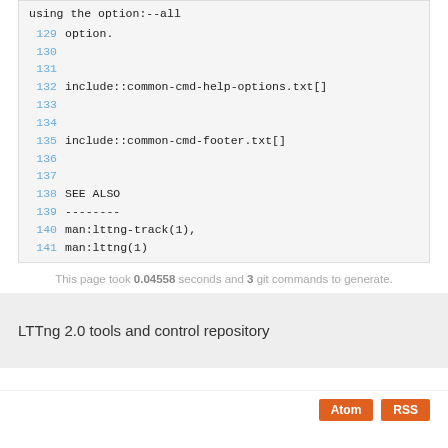using the option:--all
129 option.
130
131
132 include::common-cmd-help-options.txt[]
133
134
135 include::common-cmd-footer.txt[]
136
137
138 SEE ALSO
139 --------
140 man:lttng-track(1),
141 man:lttng(1)
This page took 0.04558 seconds and 3 git commands to generate.
LTTng 2.0 tools and control repository
Atom  RSS